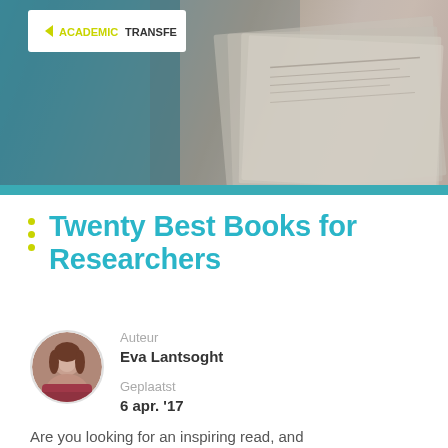[Figure (photo): Header image showing stacked newspapers in dark moody tones with teal overlay, Academic Transfer logo in top left]
Twenty Best Books for Researchers
Auteur
Eva Lantsoght
Geplaatst
6 apr. '17
Are you looking for an inspiring read, and